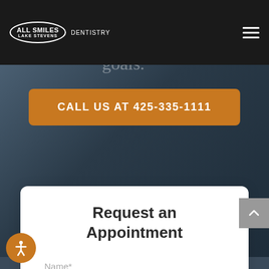ALL SMILES LAKE STEVENS DENTISTRY
concerns, and goals.
CALL US AT 425-335-1111
Request an Appointment
Name*
Phone*